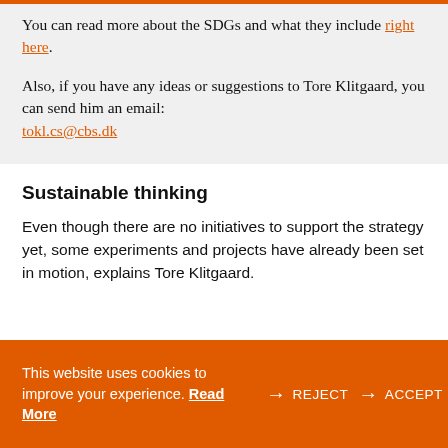You can read more about the SDGs and what they include right here.
Also, if you have any ideas or suggestions to Tore Klitgaard, you can send him an email: tokl.cs@cbs.dk
Sustainable thinking
Even though there are no initiatives to support the strategy yet, some experiments and projects have already been set in motion, explains Tore Klitgaard.
This website uses cookies to improve your experience. Read More → REJECT → ACCEPT